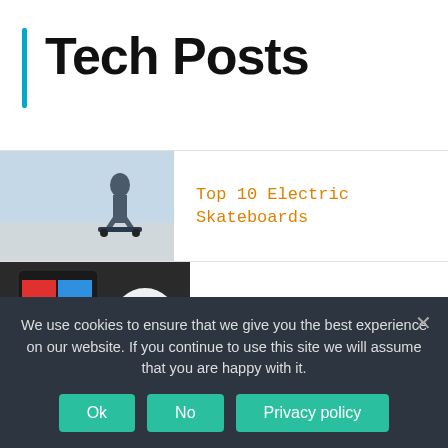Tech Posts
Top 10 Electric Skateboards
Top 10 Alexa Devices
Top 10 Best Noise-Canceling Headphones Under $100
We use cookies to ensure that we give you the best experience on our website. If you continue to use this site we will assume that you are happy with it.